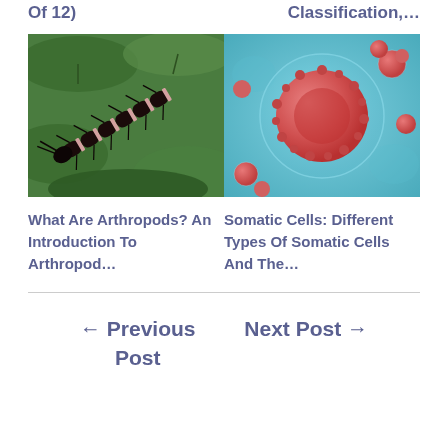Of 12)
Classification,...
[Figure (photo): A dark centipede with white/pink banding on green leaves]
[Figure (illustration): 3D illustration of a red somatic cell (cancer cell) in a blue aqueous environment with smaller red cells around it]
What Are Arthropods? An Introduction To Arthropod...
Somatic Cells: Different Types Of Somatic Cells And The...
← Previous Post
Next Post →